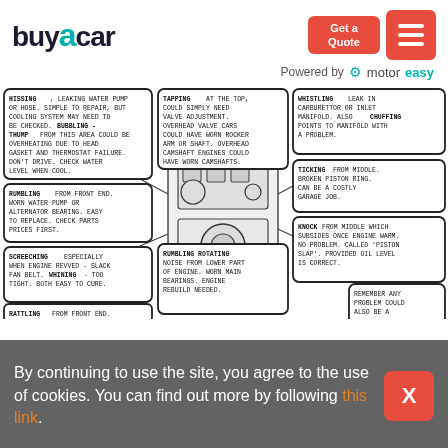buyacar | Get a Quote
Powered by motoreasy
[Figure (infographic): Car engine diagram with callout bubbles describing engine noises: HISSING (leaking water pump or hose, bubbling, thump), TAPPING (valve adjustment, rocker arm), WHISTLING (carburettor or inlet manifold, chuffing), RUMBLING from front end (worn water pump or alternator bearing), TICKING from middle (broken piston ring), KNOCK from middle (piston slap), SCREECHING (slack fan belt, whining), RUMBLING ROTATING (worn main bearings), RATTLING from front end, REMEMBER any problem could also be a computer chip.]
By continuing to use the site, you agree to the use of cookies. You can find out more by following this link.